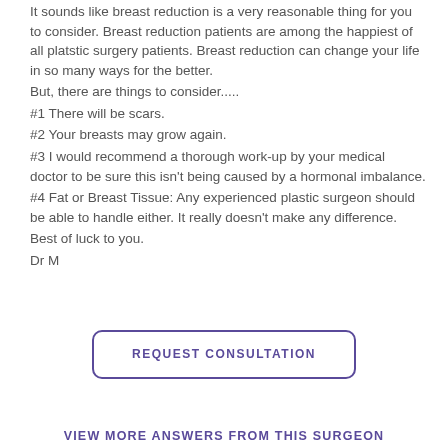It sounds like breast reduction is a very reasonable thing for you to consider. Breast reduction patients are among the happiest of all platstic surgery patients. Breast reduction can change your life in so many ways for the better.
But, there are things to consider.....
#1 There will be scars.
#2 Your breasts may grow again.
#3 I would recommend a thorough work-up by your medical doctor to be sure this isn't being caused by a hormonal imbalance.
#4 Fat or Breast Tissue: Any experienced plastic surgeon should be able to handle either. It really doesn't make any difference.
Best of luck to you.
Dr M
REQUEST CONSULTATION
VIEW MORE ANSWERS FROM THIS SURGEON